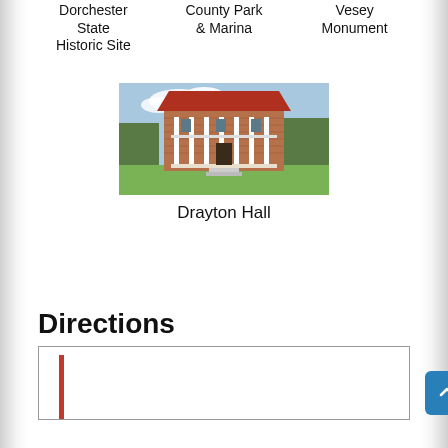Dorchester State Historic Site   County Park & Marina   Vesey Monument
[Figure (photo): Photo of Drayton Hall, a historic plantation house with red brick facade and white columns, green lawn in front, trees in background]
Drayton Hall
Directions
[Figure (other): Directions map or content box with red vertical line on left side]